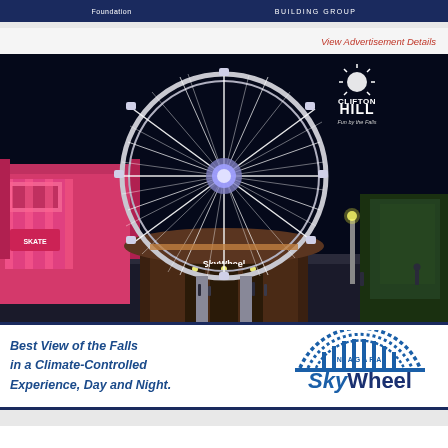Foundation   BUILDING GROUP
View Advertisement Details
[Figure (photo): Night-time photograph of the Niagara SkyWheel ferris wheel at Clifton Hill, fully illuminated with white lights, with the SkyWheel entrance building visible below and entertainment venues on either side. Clifton Hill 'Fun by the Falls' logo overlaid in top right corner.]
Best View of the Falls in a Climate-Controlled Experience, Day and Night.
[Figure (logo): Niagara SkyWheel logo with a stylized ferris wheel arc/dome graphic in blue above the text 'NIAGARA SkyWheel' in blue and dark colors.]